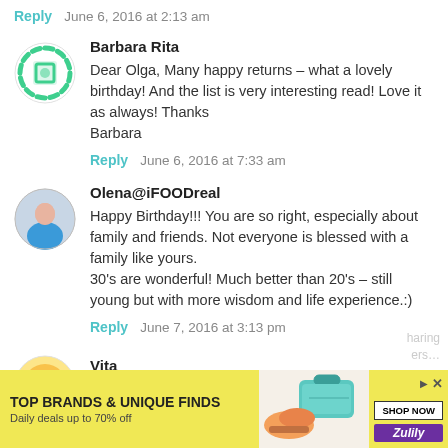Reply   June 6, 2016 at 2:13 am
Barbara Rita
Dear Olga, Many happy returns – what a lovely birthday! And the list is very interesting read! Love it as always! Thanks
Barbara
Reply   June 6, 2016 at 7:33 am
Olena@iFOODreal
Happy Birthday!!! You are so right, especially about family and friends. Not everyone is blessed with a family like yours.
30's are wonderful! Much better than 20's – still young but with more wisdom and life experience.:)
Reply   June 7, 2016 at 3:13 pm
Vita
[Figure (infographic): Advertisement banner: yellow background, 'TOP BRANDS & UNIQUE FINDS' title, 'Daily deals up to 70% off' subtitle, product image of shoes and teal purse, SHOP NOW button, Zulily branding, ad icon and X close button]